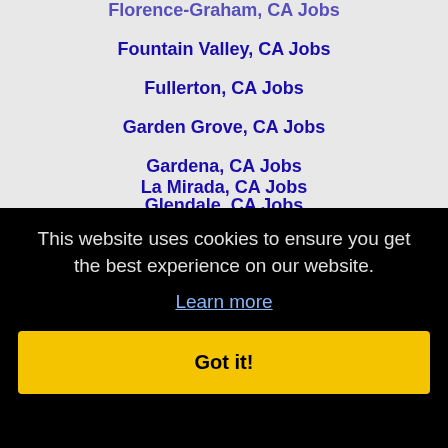Florence-Graham, CA Jobs
Fountain Valley, CA Jobs
Fullerton, CA Jobs
Garden Grove, CA Jobs
Gardena, CA Jobs
Glendale, CA Jobs
Glendora, CA Jobs
Hacienda Heights, CA Jobs
Hawthorne, CA Jobs
Hemet, CA Jobs
This website uses cookies to ensure you get the best experience on our website.
Learn more
Got it!
La Mirada, CA Jobs